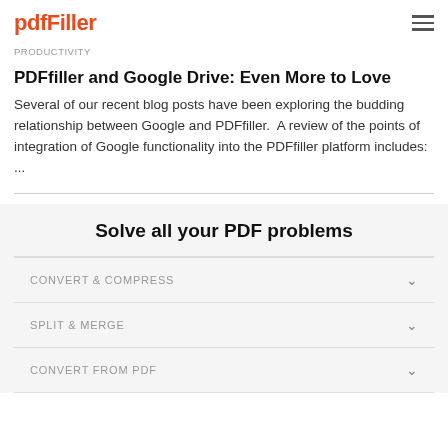pdfFiller
PRODUCTIVITY
PDFfiller and Google Drive: Even More to Love
Several of our recent blog posts have been exploring the budding relationship between Google and PDFfiller.  A review of the points of integration of Google functionality into the PDFfiller platform includes: ...
Solve all your PDF problems
CONVERT & COMPRESS
SPLIT & MERGE
CONVERT FROM PDF